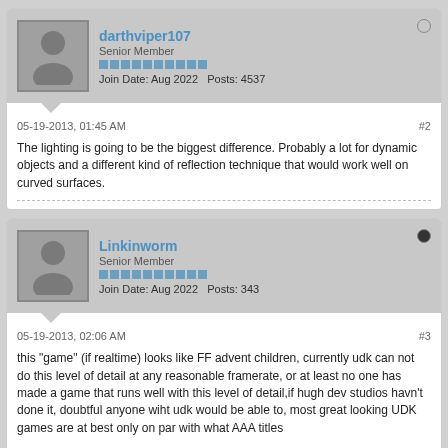darthviper107
Senior Member
Join Date: Aug 2022   Posts: 4537
05-19-2013, 01:45 AM
#2
The lighting is going to be the biggest difference. Probably a lot for dynamic objects and a different kind of reflection technique that would work well on curved surfaces.
Linkinworm
Senior Member
Join Date: Aug 2022   Posts: 343
05-19-2013, 02:06 AM
#3
this "game" (if realtime) looks like FF advent children, currently udk can not do this level of detail at any reasonable framerate, or at least no one has made a game that runs well with this level of detail,if hugh dev studios havn't done it, doubtful anyone wiht udk would be able to, most great looking UDK games are at best only on par with what AAA titles